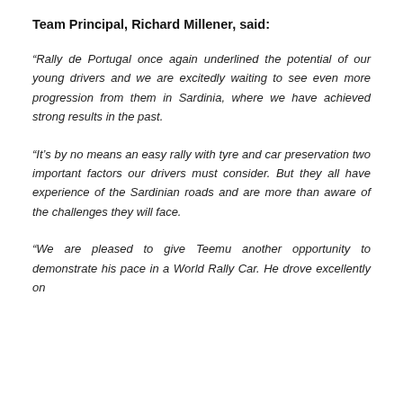Team Principal, Richard Millener, said:
“Rally de Portugal once again underlined the potential of our young drivers and we are excitedly waiting to see even more progression from them in Sardinia, where we have achieved strong results in the past.
“It’s by no means an easy rally with tyre and car preservation two important factors our drivers must consider. But they all have experience of the Sardinian roads and are more than aware of the challenges they will face.
“We are pleased to give Teemu another opportunity to demonstrate his pace in a World Rally Car. He drove excellently on